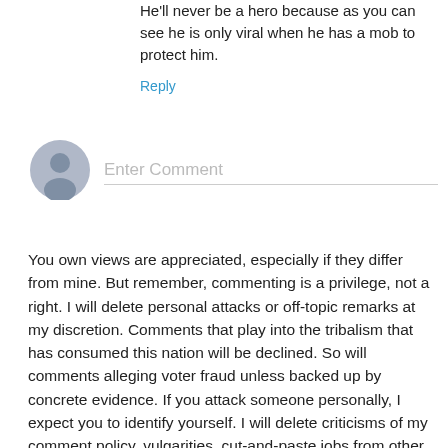He'll never be a hero because as you can see he is only viral when he has a mob to protect him.
Reply
[Figure (illustration): Generic user avatar icon — grey circle with silhouette of a person]
Enter Comment
You own views are appreciated, especially if they differ from mine. But remember, commenting is a privilege, not a right. I will delete personal attacks or off-topic remarks at my discretion. Comments that play into the tribalism that has consumed this nation will be declined. So will comments alleging voter fraud unless backed up by concrete evidence. If you attack someone personally, I expect you to identify yourself. I will delete criticisms of my comment policy, vulgarities, cut-and-paste jobs from other sources and any suggestion of violence towards anyone. I will also delete sweeping generalizations about mainstream parties or ideologies, i.e. identity